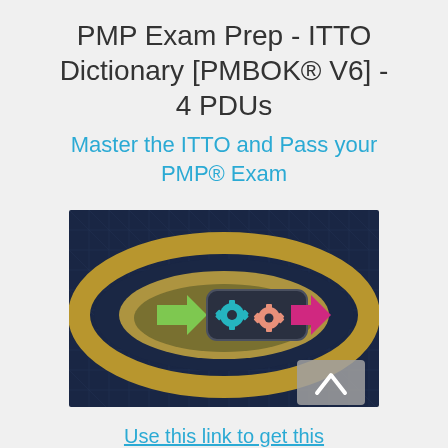PMP Exam Prep - ITTO Dictionary [PMBOK® V6] - 4 PDUs
Master the ITTO and Pass your PMP® Exam
[Figure (illustration): Course thumbnail image showing a dark navy background with a diamond/circuit pattern texture. A large gold oval/ellipse ring is centered. Inside is a smaller dark rounded rectangle containing two gear icons (teal and salmon/pink colored) with a green arrow pointing right on the left side and a pink/magenta arrow pointing right on the right side. A gray square button with an upward chevron arrow is visible in the bottom-right corner.]
Use this link to get this